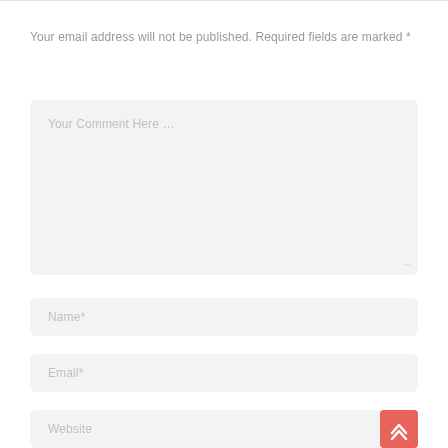Your email address will not be published. Required fields are marked *
Your Comment Here ...
Name*
Email*
Website